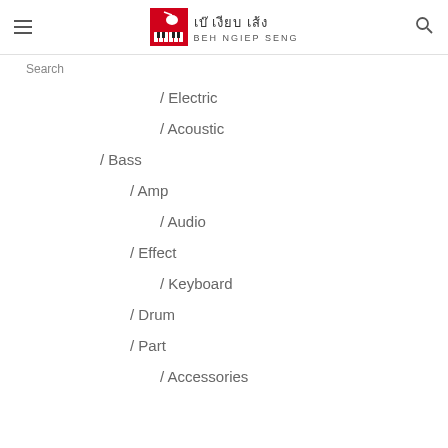Beh Ngiep Seng - เบ๊ เงียบ เส้ง
Search
/ Electric
/ Acoustic
/ Bass
/ Amp
/ Audio
/ Effect
/ Keyboard
/ Drum
/ Part
/ Accessories